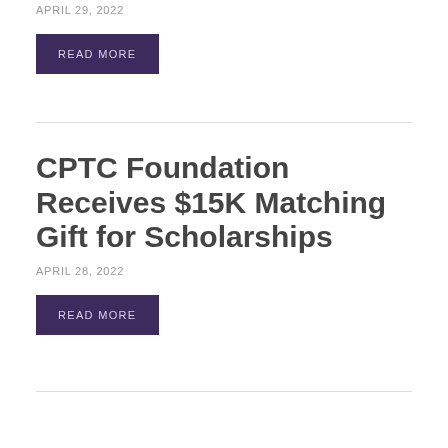APRIL 29, 2022
READ MORE
CPTC Foundation Receives $15K Matching Gift for Scholarships
APRIL 28, 2022
READ MORE